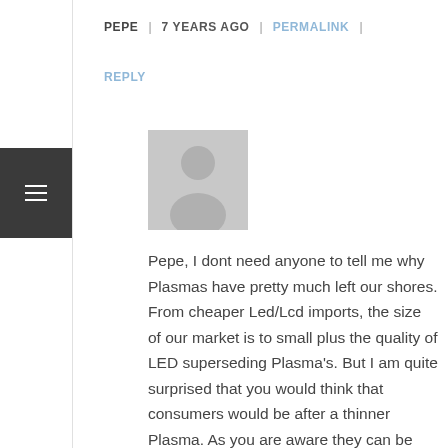PEPE | 7 YEARS AGO | PERMALINK |
REPLY
[Figure (illustration): Generic grey avatar placeholder image showing a person silhouette]
Pepe, I dont need anyone to tell me why Plasmas have pretty much left our shores. From cheaper Led/Lcd imports, the size of our market is to small plus the quality of LED superseding Plasma's. But I am quite surprised that you would think that consumers would be after a thinner Plasma. As you are aware they can be wall mounted also. That also includes Plasmas. Thickness of a screen is not really a credible reasoning why